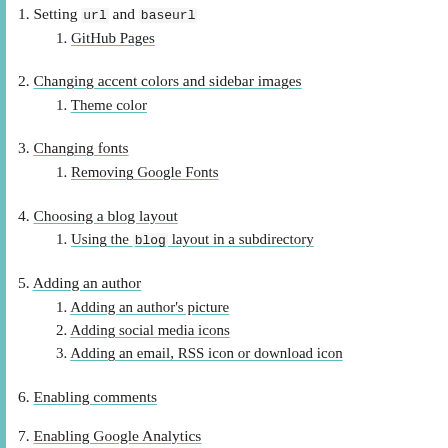1. Setting url and baseurl
1. GitHub Pages
2. Changing accent colors and sidebar images
1. Theme color
3. Changing fonts
1. Removing Google Fonts
4. Choosing a blog layout
1. Using the blog layout in a subdirectory
5. Adding an author
1. Adding an author's picture
2. Adding social media icons
3. Adding an email, RSS icon or download icon
6. Enabling comments
7. Enabling Google Analytics
1. Using a custom analytics provider
8. Changing built-in strings